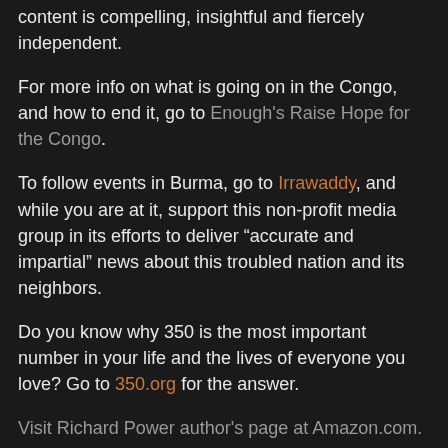content is compelling, insightful and fiercely independent.
For more info on what is going on in the Congo, and how to end it, go to Enough's Raise Hope for the Congo.
To follow events in Burma, go to Irrawaddy, and while you are at it, support this non-profit media group in its efforts to deliver "accurate and impartial" news about this troubled nation and its neighbors.
Do you know why 350 is the most important number in your life and the lives of everyone you love? Go to 350.org for the answer.
Visit Richard Power author's page at Amazon.com.
Richard Power at 3:33 AM
Share
Tuesday, October 12, 2010